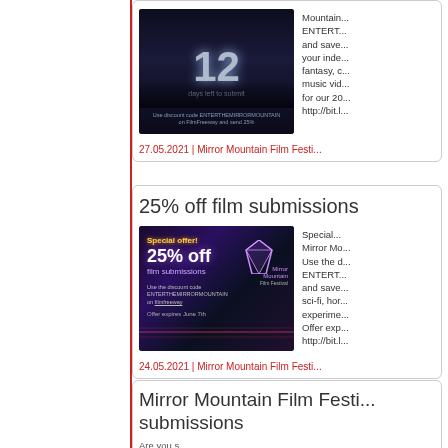[Figure (photo): Dark cinema screenshot showing number 12 on a movie screen with audience silhouettes]
Mountain... ENTERT... and save... your inde... fantasy, c... music vid... for our 20... http://bit.l...
27.05.2021 | Mirror Mountain Film Festi...
25% off film submissions
[Figure (photo): Promotional image for Mirror Mountain Film Festival 25% off film submissions offer with diamond logo and laser beams]
Special... Mirror Mo... Use the d... ENTERT... and save... sci-fi, hor... experime... Offer exp... http://bit.l...
24.05.2021 | Mirror Mountain Film Festi...
Mirror Mountain Film Festi... submissions
Are you s...